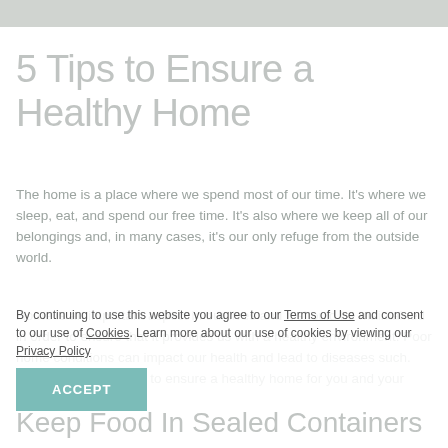[Figure (photo): Hero image showing a bright, minimal home interior scene at the top of the page]
5 Tips to Ensure a Healthy Home
The home is a place where we spend most of our time. It's where we sleep, eat, and spend our free time. It's also where we keep all of our belongings and, in many cases, it's our only refuge from the outside world.
Home is an important aspect in our lives and it should be maintained in order to ensure that it provides us with a healthy environment. Poor home conditions can impact our health and lead to diseases such. Below are a few ways to ensure a healthy home for you and your loved ones.
By continuing to use this website you agree to our Terms of Use and consent to our use of Cookies. Learn more about our use of cookies by viewing our Privacy Policy
ACCEPT
Keep Food In Sealed Containers